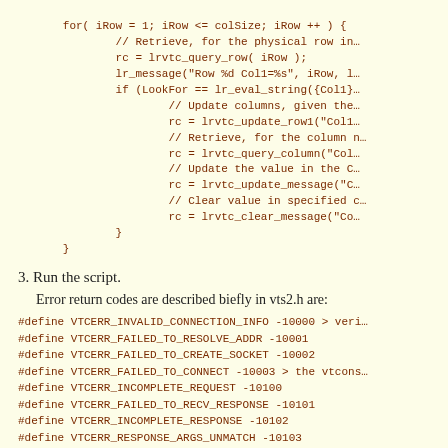for( iRow = 1; iRow <= colSize; iRow ++ ) {
            // Retrieve, for the physical row in...
            rc = lrvtc_query_row( iRow );
            lr_message("Row %d Col1=%s", iRow, l...
            if (LookFor == lr_eval_string({Col1}...
                    // Update columns, given the...
                    rc = lrvtc_update_row1("Col1...
                    // Retrieve, for the column n...
                    rc = lrvtc_query_column("Col...
                    // Update the value in the C...
                    rc = lrvtc_update_message("C...
                    // Clear value in specified c...
                    rc = lrvtc_clear_message("Co...
            }
    }
3. Run the script.
Error return codes are described biefly in vts2.h are:
#define VTCERR_INVALID_CONNECTION_INFO -10000 > veri...
#define VTCERR_FAILED_TO_RESOLVE_ADDR -10001
#define VTCERR_FAILED_TO_CREATE_SOCKET -10002
#define VTCERR_FAILED_TO_CONNECT -10003 > the vtcons...
#define VTCERR_INCOMPLETE_REQUEST -10100
#define VTCERR_FAILED_TO_RECV_RESPONSE -10101
#define VTCERR_INCOMPLETE_RESPONSE -10102
#define VTCERR_RESPONSE_ARGS_UNMATCH -10103
#define VTCERR_OPERATION_ERROR_BASE -11000